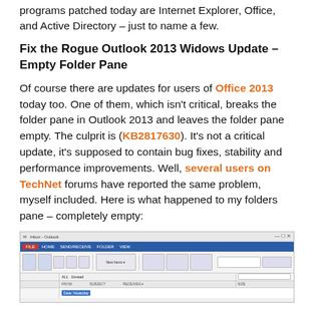programs patched today are Internet Explorer, Office, and Active Directory – just to name a few.
Fix the Rogue Outlook 2013 Widows Update – Empty Folder Pane
Of course there are updates for users of Office 2013 today too. One of them, which isn't critical, breaks the folder pane in Outlook 2013 and leaves the folder pane empty. The culprit is (KB2817630). It's not a critical update, it's supposed to contain bug fixes, stability and performance improvements. Well, several users on TechNet forums have reported the same problem, myself included. Here is what happened to my folders pane – completely empty:
[Figure (screenshot): Screenshot of Microsoft Outlook 2013 showing an empty folder pane in the navigation area, with the ribbon and inbox visible but the folder tree completely empty.]